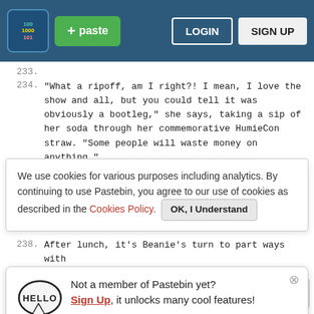+ paste  LOGIN  SIGN UP
234. "What a ripoff, am I right?! I mean, I love the show and all, but you could tell it was obviously a bootleg," she says, taking a sip of her soda through her commemorative HumieCon straw. "Some people will waste money on anything."
We use cookies for various purposes including analytics. By continuing to use Pastebin, you agree to our use of cookies as described in the Cookies Policy. OK, I Understand
235.
236.
237.
238. After lunch, it's Beanie's turn to part ways with th[e] ta[...] op[...]
[Figure (illustration): Hello badge speech bubble with HELLO text, and popup: Not a member of Pastebin yet? Sign Up, it unlocks many cool features!]
back to the suite, dumping it all next to your luggage.
239.
240. "So, now what?" you ask, flipping your hood back